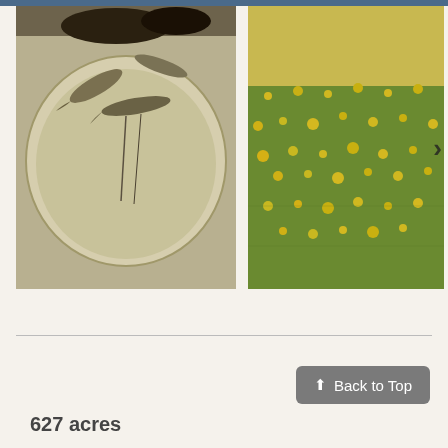[Figure (photo): Small fish or aquatic organisms in a white circular dish/bowl with water, viewed from above]
[Figure (photo): Green grass field with yellow wildflowers scattered across, outdoor nature scene]
627 acres